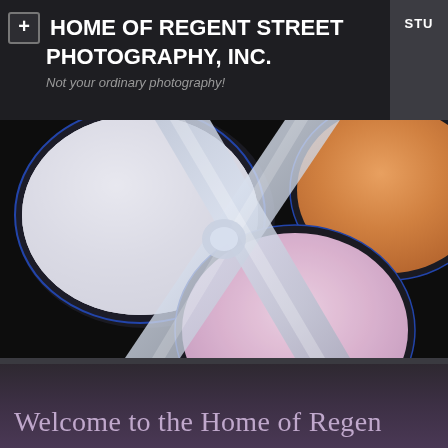+ HOME OF REGENT STREET PHOTOGRAPHY, INC. | STU
Not your ordinary photography!
[Figure (photo): Close-up photograph of a cosmetic eyeshadow palette with multiple circular pans: a large white/silver pan on the left, an orange/peach pan on the upper right, and a pink/lavender pan on the lower center, all separated by a glossy clear plastic cross-shaped divider, set against a black background.]
Welcome to the Home of Regen